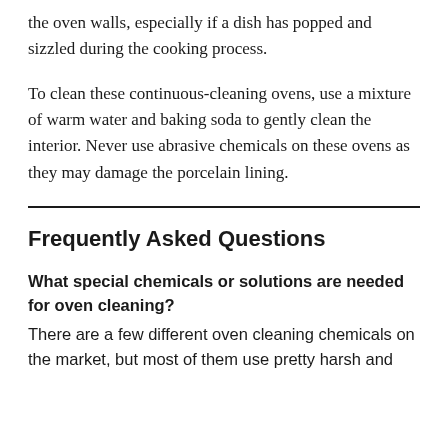the oven walls, especially if a dish has popped and sizzled during the cooking process.
To clean these continuous-cleaning ovens, use a mixture of warm water and baking soda to gently clean the interior. Never use abrasive chemicals on these ovens as they may damage the porcelain lining.
Frequently Asked Questions
What special chemicals or solutions are needed for oven cleaning?
There are a few different oven cleaning chemicals on the market, but most of them use pretty harsh and